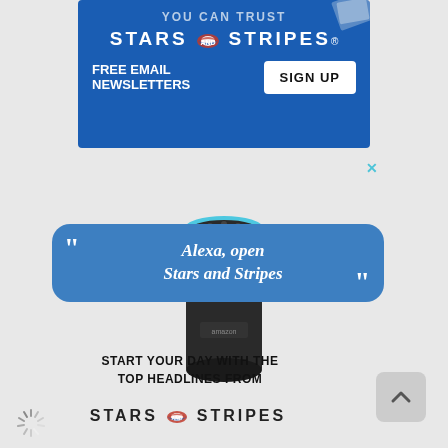[Figure (infographic): Stars and Stripes advertisement banner with dark blue background showing 'YOU CAN TRUST' text at top, Stars and Stripes logo with eagle emblem, 'FREE EMAIL NEWSLETTERS' text on left and 'SIGN UP' button on right]
[Figure (infographic): Amazon Echo smart speaker device with blue ring light, overlapping a blue speech bubble with quotation marks saying 'Alexa, open Stars and Stripes' above text 'START YOUR DAY WITH THE TOP HEADLINES FROM' and Stars and Stripes logo]
START YOUR DAY WITH THE TOP HEADLINES FROM
[Figure (logo): Stars and Stripes logo with eagle emblem between STARS and STRIPES text]